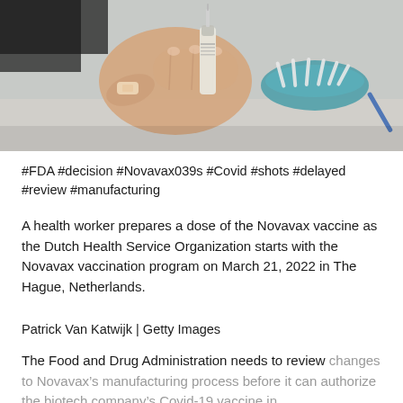[Figure (photo): A health worker's hands holding a small vaccine vial with a syringe, with a teal/blue bowl of syringes in the background on a table surface.]
#FDA #decision #Novavax039s #Covid #shots #delayed #review #manufacturing
A health worker prepares a dose of the Novavax vaccine as the Dutch Health Service Organization starts with the Novavax vaccination program on March 21, 2022 in The Hague, Netherlands.
Patrick Van Katwijk | Getty Images
The Food and Drug Administration needs to review changes to Novavax’s manufacturing process before it can authorize the biotech company’s Covid-19 vaccine in